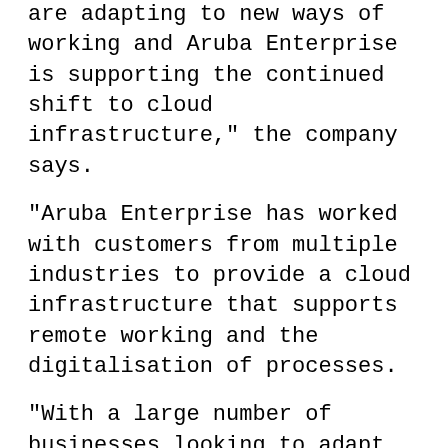As the pandemic hit, businesses around the world are adapting to new ways of working and Aruba Enterprise is supporting the continued shift to cloud infrastructure," the company says.
"Aruba Enterprise has worked with customers from multiple industries to provide a cloud infrastructure that supports remote working and the digitalisation of processes.
"With a large number of businesses looking to adapt quickly to a change in working procedures, Aruba Enterprise worked with its customers to enhance their ability to operate as a digital enterprise," the company explains.
"The Aruba Enterprise cloud infrastructure provides users with a highly flexible and customisable platform that provides businesses with the services they require to optimise their processes."
According to Aruba, their experience extends to achieving